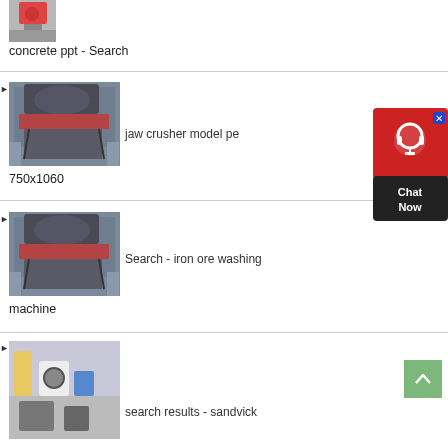[Figure (photo): Industrial machinery image - concrete ppt]
concrete ppt - Search
[Figure (photo): Jaw crusher industrial machine]
jaw crusher model pe 750x1060
[Figure (other): Chat Now widget with headset icon]
[Figure (photo): Iron ore washing machine]
Search - iron ore washing machine
[Figure (photo): Sandvick search results machinery]
search results - sandvick